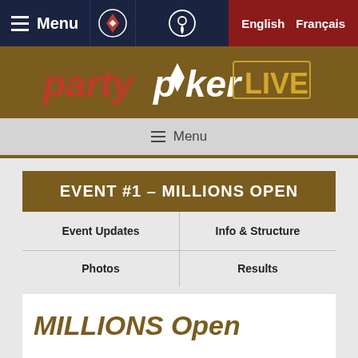Menu | partypoker logo | location icon | English | Français
[Figure (logo): partypoker LIVE logo on gold/brown background — red 'party', white 'p♦ker' with diamond, and outlined 'LIVE' text]
≡ Menu
EVENT #1 – MILLIONS OPEN
Event Updates
Info & Structure
Photos
Results
MILLIONS Open